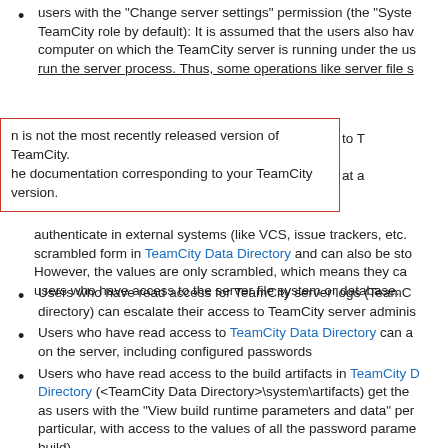users with the "Change server settings" permission (the "Syste... TeamCity role by default): It is assumed that the users also have... computer on which the TeamCity server is running under the us... run the server process. Thus, some operations like server file s...
n is not the most recently released version of TeamCity.
he documentation corresponding to your TeamCity version.
authenticate in external systems (like VCS, issue trackers, etc.... scrambled form in TeamCity Data Directory and can also be sto... However, the values are only scrambled, which means they ca... users who have access to the server file system or database.
Users who have read access for TeamCity server logs (TeamC... directory) can escalate their access to TeamCity server adminis...
Users who have read access to TeamCity Data Directory can a... on the server, including configured passwords
Users who have read access to the build artifacts in TeamCity D... Directory (<TeamCity Data Directory>\system\artifacts) get the... as users with the "View build runtime parameters and data" per... particular, with access to the values of all the password parame... build)
TeamCity agent computer administrators: same as "users who... that is used in the builds run by TeamCity".